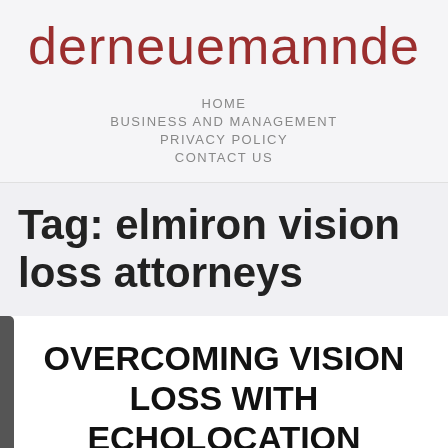derneuemannde
HOME
BUSINESS AND MANAGEMENT
PRIVACY POLICY
CONTACT US
Tag: elmiron vision loss attorneys
OVERCOMING VISION LOSS WITH ECHOLOCATION